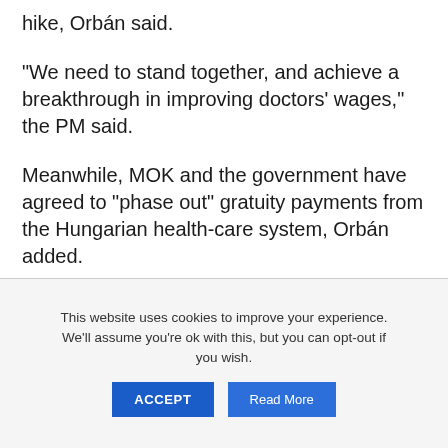hike, Orbán said.
“We need to stand together, and achieve a breakthrough in improving doctors' wages,” the PM said.
Meanwhile, MOK and the government have agreed to “phase out” gratuity payments from the Hungarian health-care system, Orbán added.
This website uses cookies to improve your experience. We'll assume you're ok with this, but you can opt-out if you wish.